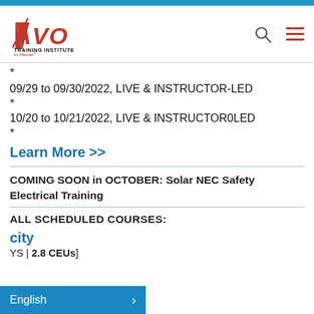[Figure (logo): AVO Training Institute by Megger logo — red AVO text with diagonal slash, black TRAINING INSTITUTE text, red by Megger text below]
*
09/29 to 09/30/2022, LIVE & INSTRUCTOR-LED
*
10/20 to 10/21/2022, LIVE & INSTRUCTOR0LED
*
Learn More >>
COMING SOON in OCTOBER: Solar NEC Safety Electrical Training
ALL SCHEDULED COURSES:
2.8 CEUs
English